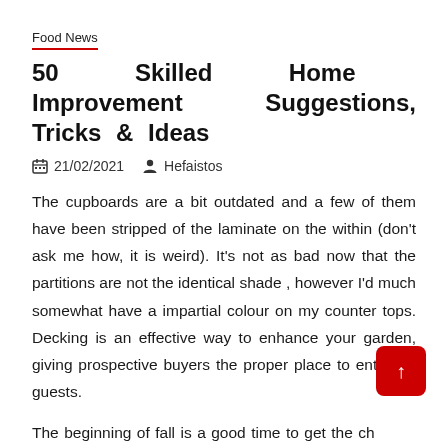Food News
50 Skilled Home Improvement Suggestions, Tricks & Ideas
21/02/2021   Hefaistos
The cupboards are a bit outdated and a few of them have been stripped of the laminate on the within (don't ask me how, it is weird). It's not as bad now that the partitions are not the identical shade , however I'd much somewhat have a impartial colour on my counter tops. Decking is an effective way to enhance your garden, giving prospective buyers the proper place to entertain guests.
The beginning of fall is a good time to get the chimney cleaned and inspected. Over time, there can be a soot